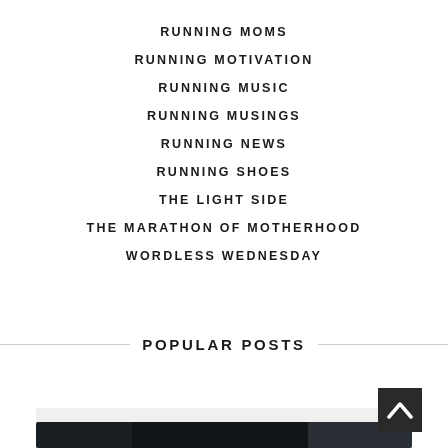RUNNING MOMS
RUNNING MOTIVATION
RUNNING MUSIC
RUNNING MUSINGS
RUNNING NEWS
RUNNING SHOES
THE LIGHT SIDE
THE MARATHON OF MOTHERHOOD
WORDLESS WEDNESDAY
POPULAR POSTS
[Figure (photo): Partial view of a photo showing dark and light objects, likely a product photo, cropped at the bottom of the page.]